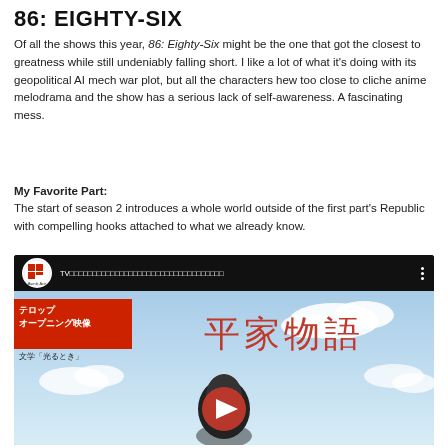86: EIGHTY-SIX
Of all the shows this year, 86: Eighty-Six might be the one that got the closest to greatness while still undeniably falling short. I like a lot of what it's doing with its geopolitical AI mech war plot, but all the characters hew too close to cliche anime melodrama and the show has a serious lack of self-awareness. A fascinating mess.
My Favorite Part:
The start of season 2 introduces a whole world outside of the first part's Republic with compelling hooks attached to what we already know.
[Figure (screenshot): Embedded YouTube video thumbnail showing an Asmik Ace channel video. The video shows Japanese text: テロップ オープニング映像 / 光るとき, large kanji 平家物語, and an anime character with a play button overlay. Sky and clouds background.]